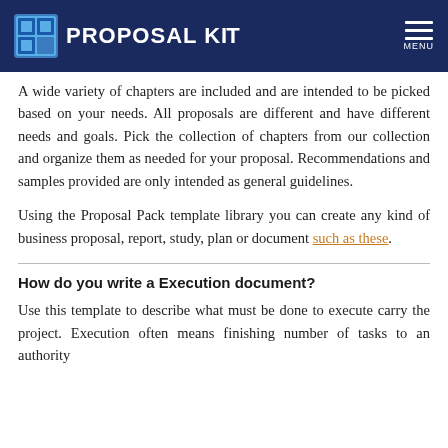PROPOSAL KIT
A wide variety of chapters are included and are intended to be picked based on your needs. All proposals are different and have different needs and goals. Pick the collection of chapters from our collection and organize them as needed for your proposal. Recommendations and samples provided are only intended as general guidelines.
Using the Proposal Pack template library you can create any kind of business proposal, report, study, plan or document such as these.
How do you write a Execution document?
Use this template to describe what must be done to execute carry the project. Execution often means finishing number of tasks to an authority